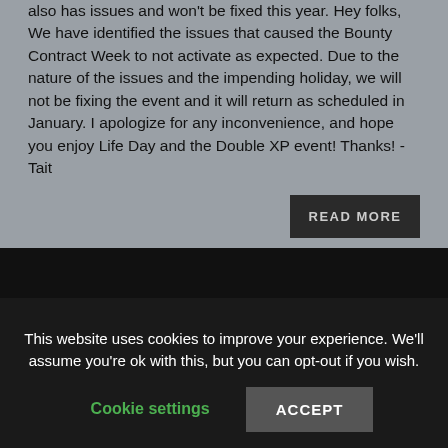also has issues and won't be fixed this year. Hey folks, We have identified the issues that caused the Bounty Contract Week to not activate as expected. Due to the nature of the issues and the impending holiday, we will not be fixing the event and it will return as scheduled in January. I apologize for any inconvenience, and hope you enjoy Life Day and the Double XP event! Thanks! -Tait
READ MORE
New Dev Post   The Old
This website uses cookies to improve your experience. We'll assume you're ok with this, but you can opt-out if you wish.
Cookie settings
ACCEPT